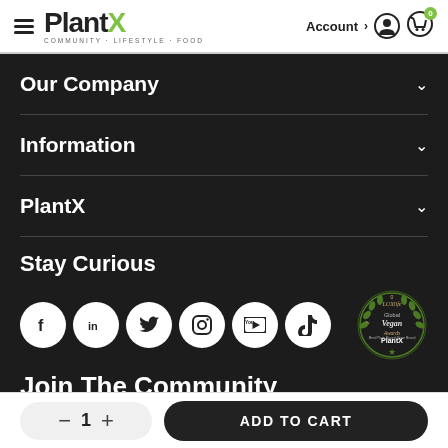PlantX — COMMUNITY · LIFESTYLE · FOOD — Account > [icon] [cart 0]
Our Company
Information
PlantX
Stay Curious
[Figure (infographic): Six social media icon buttons (Facebook, LinkedIn, Twitter, Instagram, YouTube, TikTok) in white circles on dark background, plus a Luxe Global Vegan Awards badge for PlantX]
Join The Community
— 1 + ADD TO CART